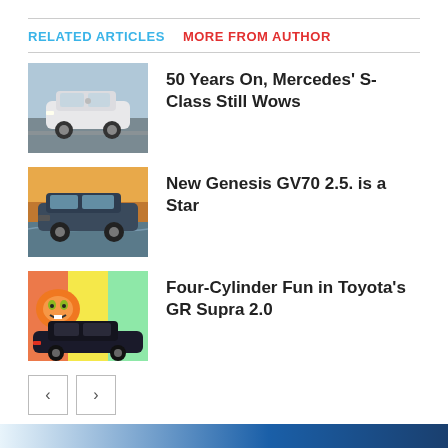RELATED ARTICLES   MORE FROM AUTHOR
[Figure (photo): White Mercedes S-Class sedan driving on road]
50 Years On, Mercedes' S-Class Still Wows
[Figure (photo): Dark blue Genesis GV70 SUV driving near water]
New Genesis GV70 2.5. is a Star
[Figure (photo): Toyota GR Supra 2.0 in front of colorful graffiti with Garfield]
Four-Cylinder Fun in Toyota's GR Supra 2.0
[Figure (photo): Navigation previous and next buttons]
[Figure (photo): Partial bottom image preview with blue tones]